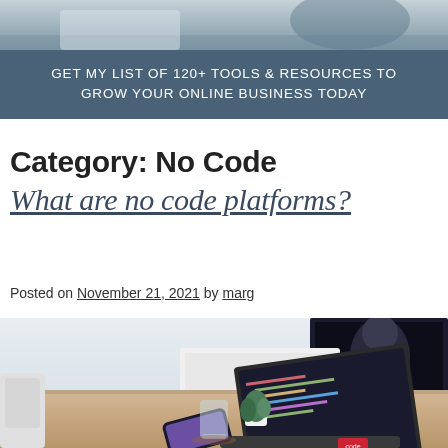[Figure (photo): Top portion of a room/office scene, blurred background with teal/grey tones]
GET MY LIST OF 120+ TOOLS & RESOURCES TO GROW YOUR ONLINE BUSINESS TODAY
Category: No Code
What are no code platforms?
Posted on November 21, 2021 by marg
[Figure (photo): A wooden desk with a laptop showing code, a smartphone, a small plant, a glass, and a large monitor with a dark poster in the background]